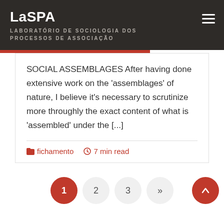LaSPA
LABORATÓRIO DE SOCIOLOGIA DOS PROCESSOS DE ASSOCIAÇÃO
SOCIAL ASSEMBLAGES After having done extensive work on the 'assemblages' of nature, I believe it's necessary to scrutinize more throughly the exact content of what is 'assembled' under the [...]
fichamento   7 min read